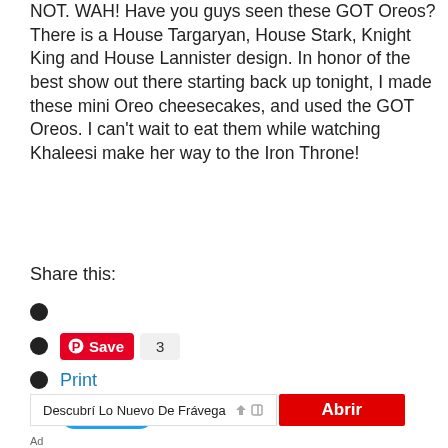NOT. WAH! Have you guys seen these GOT Oreos? There is a House Targaryan, House Stark, Knight King and House Lannister design. In honor of the best show out there starting back up tonight, I made these mini Oreo cheesecakes, and used the GOT Oreos. I can't wait to eat them while watching Khaleesi make her way to the Iron Throne!
Read more
Share this:
Save 3
Print
Tweet
[Figure (other): Advertisement banner: Descubrí Lo Nuevo De Frávega with red Abrir button]
Ad